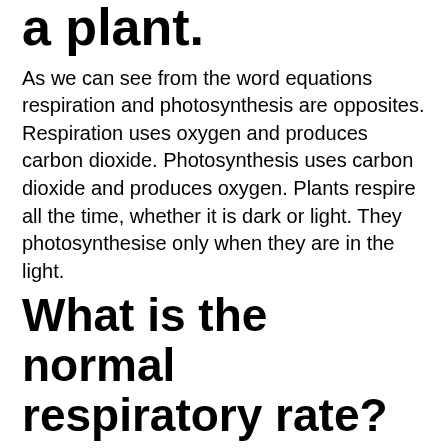a plant.
As we can see from the word equations respiration and photosynthesis are opposites. Respiration uses oxygen and produces carbon dioxide. Photosynthesis uses carbon dioxide and produces oxygen. Plants respire all the time, whether it is dark or light. They photosynthesise only when they are in the light.
What is the normal respiratory rate?
Respiratory rate: A person's respiratory rate is the number of breaths you take per minute. The normal respiration rate for an adult at rest is 12 to 20 breaths per minute.